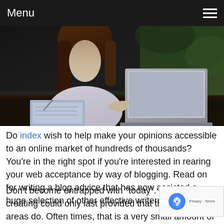Menu
[Figure (photo): Young woman with long brown hair sitting at a table in a cafe, writing in a notebook while a laptop is open in front of her. Outdoor greenery visible in background.]
Do index wish to help make your opinions accessible to an online market of hundreds of thousands? You're in the right spot if you're interested in rearing your web acceptance by way of blogging. Read on for writing a blog advice that has now assisted a huge selection of other effective writers.
Don't become entrapped with "today". very hot topic creating could only last provided that the new subject areas do. Often times, that is a very small amount of time period of time. Try out composing content that may be easily read several weeks and yrs down the road. Even if the content articles are about a